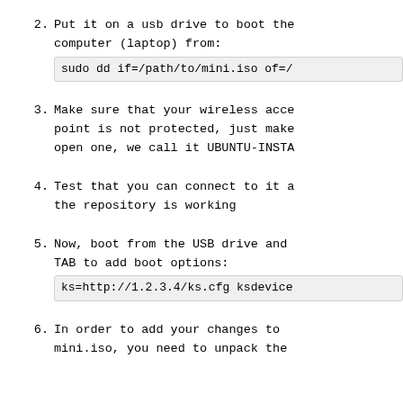2. Put it on a usb drive to boot the computer (laptop) from:
sudo dd if=/path/to/mini.iso of=/
3. Make sure that your wireless access point is not protected, just make it an open one, we call it UBUNTU-INSTA
4. Test that you can connect to it and the repository is working
5. Now, boot from the USB drive and press TAB to add boot options:
ks=http://1.2.3.4/ks.cfg ksdevice
6. In order to add your changes to mini.iso, you need to unpack the